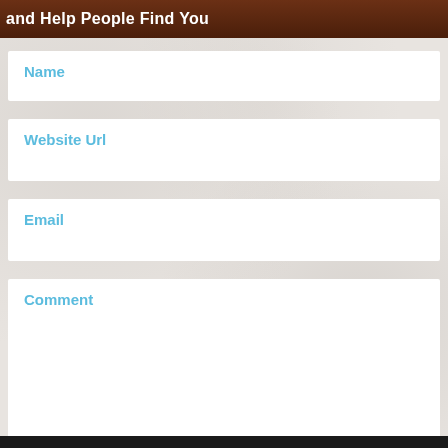and Help People Find You
Name
Website Url
Email
Comment